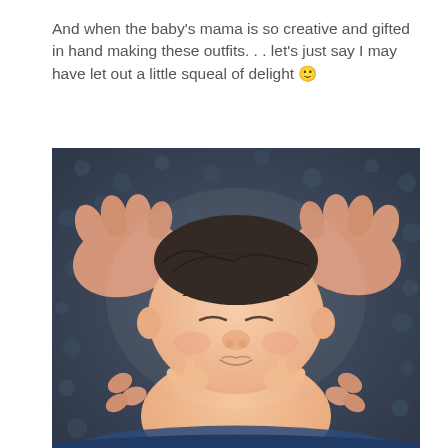And when the baby's mama is so creative and gifted in hand making these outfits. . . let's just say I may have let out a little squeal of delight 🙂
[Figure (photo): Close-up newborn baby sleeping peacefully on a dark blue-grey textured background, with adult hands gently cradling the baby's head on both sides. The baby has dark hair and is shirtless, eyes closed.]